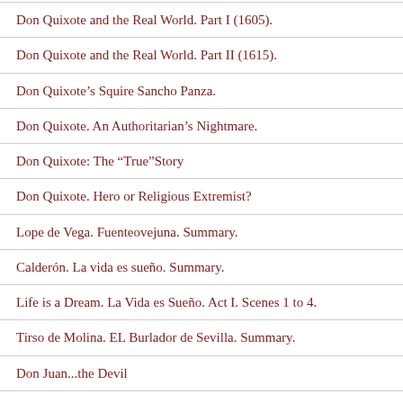Don Quixote and the Real World. Part I (1605).
Don Quixote and the Real World. Part II (1615).
Don Quixote's Squire Sancho Panza.
Don Quixote. An Authoritarian's Nightmare.
Don Quixote: The “True”Story
Don Quixote. Hero or Religious Extremist?
Lope de Vega. Fuenteovejuna. Summary.
Calderón. La vida es sueño. Summary.
Life is a Dream. La Vida es Sueño. Act I. Scenes 1 to 4.
Tirso de Molina. EL Burlador de Sevilla. Summary.
Don Juan...the Devil